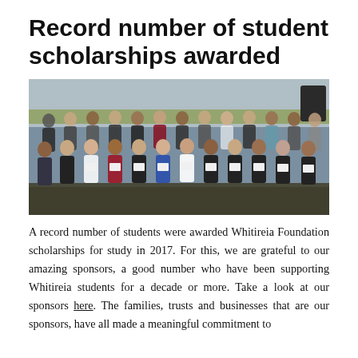Record number of student scholarships awarded
[Figure (photo): Group photo of a large number of students holding scholarship certificates, seated and standing in rows in an indoor venue.]
A record number of students were awarded Whitireia Foundation scholarships for study in 2017. For this, we are grateful to our amazing sponsors, a good number who have been supporting Whitireia students for a decade or more. Take a look at our sponsors here. The families, trusts and businesses that are our sponsors, have all made a meaningful commitment to